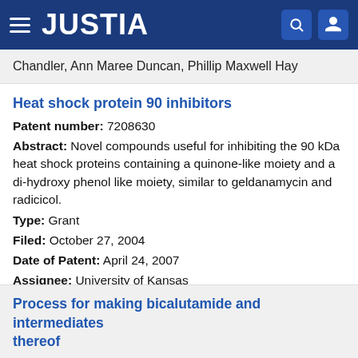JUSTIA
Chandler, Ann Maree Duncan, Phillip Maxwell Hay
Heat shock protein 90 inhibitors
Patent number: 7208630
Abstract: Novel compounds useful for inhibiting the 90 kDa heat shock proteins containing a quinone-like moiety and a di-hydroxy phenol like moiety, similar to geldanamycin and radicicol.
Type: Grant
Filed: October 27, 2004
Date of Patent: April 24, 2007
Assignee: University of Kansas
Inventors: Brian Blagg, Gang Shen, Randell C. Clevenger
Process for making bicalutamide and intermediates thereof